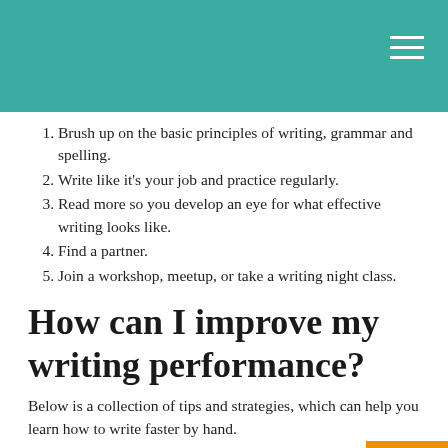Brush up on the basic principles of writing, grammar and spelling.
Write like it's your job and practice regularly.
Read more so you develop an eye for what effective writing looks like.
Find a partner.
Join a workshop, meetup, or take a writing night class.
How can I improve my writing performance?
Below is a collection of tips and strategies, which can help you learn how to write faster by hand.
Fix your handwriting technique.
Maintain good posture.
Hold the pen whichever way feels comfortable.